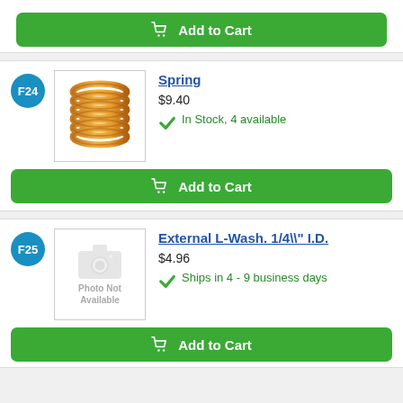[Figure (other): Green Add to Cart button at top (partial, from previous product section)]
F24
[Figure (photo): Photo of a gold/yellow coil spring]
Spring
$9.40
In Stock, 4 available
[Figure (other): Green Add to Cart button]
F25
[Figure (photo): Photo Not Available placeholder with camera icon]
External L-Wash. 1/4\" I.D.
$4.96
Ships in 4 - 9 business days
[Figure (other): Green Add to Cart button]